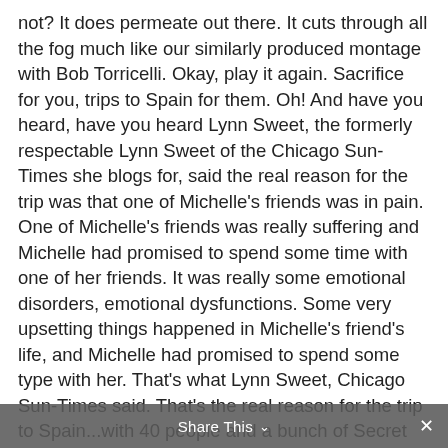not? It does permeate out there. It cuts through all the fog much like our similarly produced montage with Bob Torricelli. Okay, play it again. Sacrifice for you, trips to Spain for them. Oh! And have you heard, have you heard Lynn Sweet, the formerly respectable Lynn Sweet of the Chicago Sun-Times she blogs for, said the real reason for the trip was that one of Michelle's friends was in pain. One of Michelle's friends was really suffering and Michelle had promised to spend some time with one of her friends. It was really some emotional disorders, emotional dysfunctions. Some very upsetting things happened in Michelle's friend's life, and Michelle had promised to spend some type with her. That's what Lynn Sweet, Chicago Sun-Times said. That's the real reason for the trip to Spain...with 40 people and a bunch of Secret Service people, and 60 rooms. 'Cause she had a friend that's in the dumps, depressed, got the blues, down and out. So while Michelle was ministering to her depressed buddy in Spain, Obama has been demanding and asking of sacrifice from you.
Share This